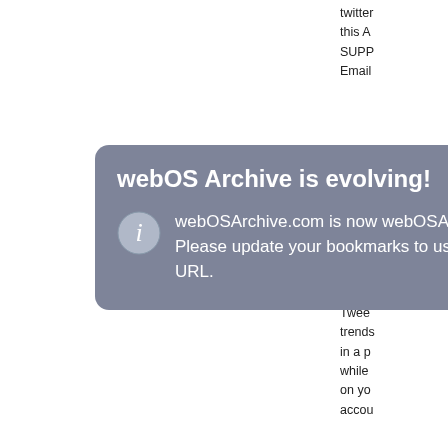twitter
this A
SUPP
Email
[Figure (screenshot): Modal notification banner with gray-blue background. Title: 'webOS Archive is evolving!' with close button X. Body text with info icon: 'webOSArchive.com is now webOSArchive.org! Please update your bookmarks to use the new URL.' Blue app icon partially visible at bottom right of banner.]
Twee
Twee
trends
in a p
while
on yo
accou
[Figure (illustration): TweetMe app icon: blue Twitter bird with 'Me' text in stylized font]
Twee
Twitt
If you
powe
try Tw
home
messs